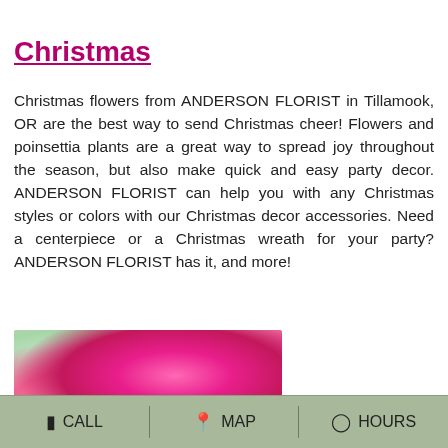[Figure (photo): Partial photo of Christmas floral arrangement with red berries and green foliage at the top right of the page]
Christmas
Christmas flowers from ANDERSON FLORIST in Tillamook, OR are the best way to send Christmas cheer! Flowers and poinsettia plants are a great way to spread joy throughout the season, but also make quick and easy party decor. ANDERSON FLORIST can help you with any Christmas styles or colors with our Christmas decor accessories. Need a centerpiece or a Christmas wreath for your party? ANDERSON FLORIST has it, and more!
[Figure (photo): Photo of pink floral arrangement with roses, lilies, and alstroemeria flowers with a DESIGNER'S CHOICE banner at the bottom]
CALL   MAP   HOURS